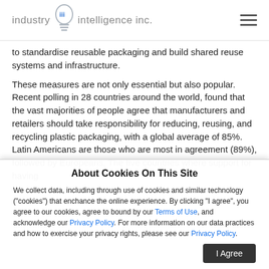industry intelligence inc.
to standardise reusable packaging and build shared reuse systems and infrastructure.
These measures are not only essential but also popular. Recent polling in 28 countries around the world, found that the vast majorities of people agree that manufacturers and retailers should take responsibility for reducing, reusing, and recycling plastic packaging, with a global average of 85%. Latin Americans are those who are most in agreement (89%), followed by Europeans. The five countries where support for having
About Cookies On This Site
We collect data, including through use of cookies and similar technology ("cookies") that enchance the online experience. By clicking "I agree", you agree to our cookies, agree to bound by our Terms of Use, and acknowledge our Privacy Policy. For more information on our data practices and how to exercise your privacy rights, please see our Privacy Policy.
estimated, you find single use police every minute. This figure h